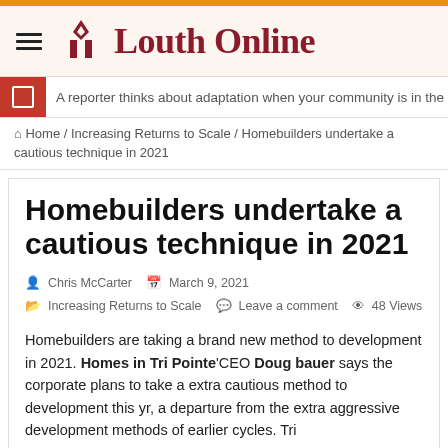Louth Online
A reporter thinks about adaptation when your community is in the news; Two a
Home / Increasing Returns to Scale / Homebuilders undertake a cautious technique in 2021
Homebuilders undertake a cautious technique in 2021
Chris McCarter   March 9, 2021   Increasing Returns to Scale   Leave a comment   48 Views
Homebuilders are taking a brand new method to development in 2021. Homes in Tri Pointe'CEO Doug bauer says the corporate plans to take a extra cautious method to development this yr, a departure from the extra aggressive development methods of earlier cycles. Tri